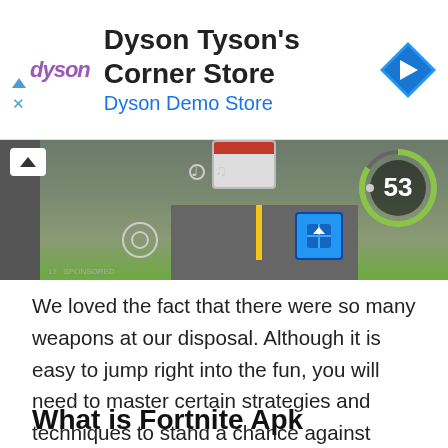[Figure (screenshot): Dyson brand advertisement banner with logo, store name 'Dyson Tyson's Corner Store', subtitle 'Dyson Demo Store', and a blue diamond navigation icon on the right. Small blue triangle and X icons on the left.]
[Figure (screenshot): Fortnite mobile game screenshot showing a top-down view of a road with yellow lane markings, game HUD showing number 53 in a green circle, a blue inventory item icon, music note icons, and a vehicle on the road.]
We loved the fact that there were so many weapons at our disposal. Although it is easy to jump right into the fun, you will need to master certain strategies and techniques to stand a chance against other players who have been playing for longer periods. Overall, we were impressed with this mobile game and think it's a must-play for any gamer out there.
What is Fortnite Apk